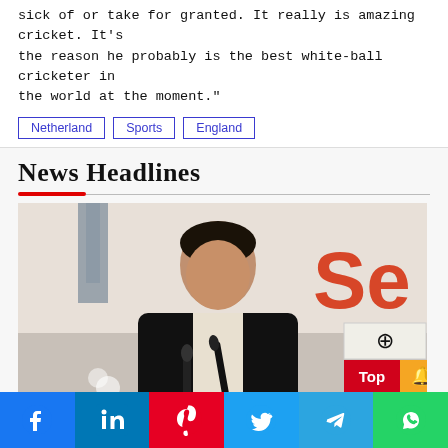sick of or take for granted. It really is amazing cricket. It's the reason he probably is the best white-ball cricketer in the world at the moment."
Netherland
Sports
England
News Headlines
[Figure (photo): A man in a dark jacket speaking at a podium with microphones, with large red letters 'Se' visible in the background. UI overlay buttons visible: move icon, 'Top' red button, orange bell button.]
[Figure (infographic): Social media sharing bar with Facebook, LinkedIn, Pinterest, Twitter, Telegram, and WhatsApp icons.]